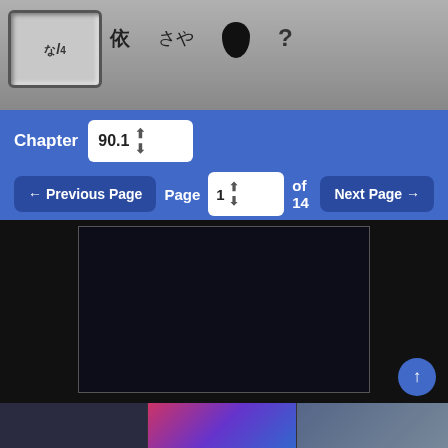[Figure (screenshot): Manga reader website header with navigation icons and Japanese characters]
Chapter 90.1
← Previous Page   Page 1 of 14   Next Page →
[Figure (screenshot): Dark manga page content area - mostly black/empty page frame]
[Figure (screenshot): Bottom thumbnail strip showing related manga titles]